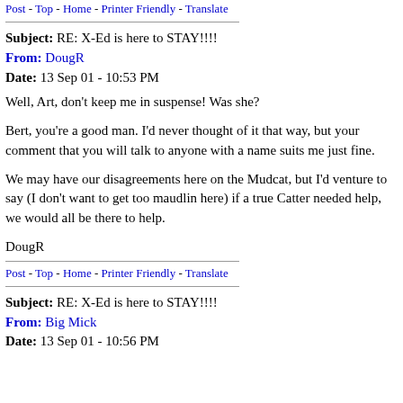Post - Top - Home - Printer Friendly - Translate
Subject: RE: X-Ed is here to STAY!!!!
From: DougR
Date: 13 Sep 01 - 10:53 PM
Well, Art, don't keep me in suspense! Was she?
Bert, you're a good man. I'd never thought of it that way, but your comment that you will talk to anyone with a name suits me just fine.
We may have our disagreements here on the Mudcat, but I'd venture to say (I don't want to get too maudlin here) if a true Catter needed help, we would all be there to help.
DougR
Post - Top - Home - Printer Friendly - Translate
Subject: RE: X-Ed is here to STAY!!!!
From: Big Mick
Date: 13 Sep 01 - 10:56 PM